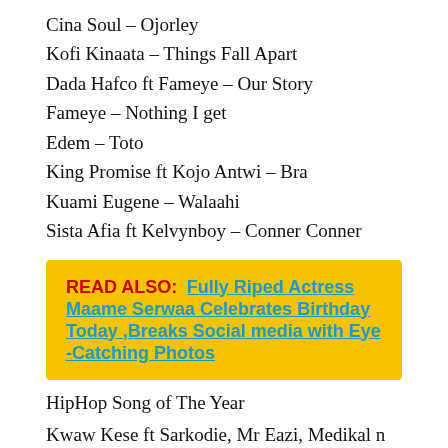Cina Soul – Ojorley
Kofi Kinaata – Things Fall Apart
Dada Hafco ft Fameye – Our Story
Fameye – Nothing I get
Edem – Toto
King Promise ft Kojo Antwi – Bra
Kuami Eugene – Walaahi
Sista Afia ft Kelvynboy – Conner Conner
READ ALSO: Fully Riped Actress Maame Serwaa Celebrates Birthday Today ,Breaks Social media with Eye -Catching Photos
HipHop Song of The Year
Kwaw Kese ft Sarkodie, Mr Eazi, Medikal n Skonti – Dondo Remix
Sarkodie Ft (Lyrical Joe, Tulenkey, et al – Biibi Ba